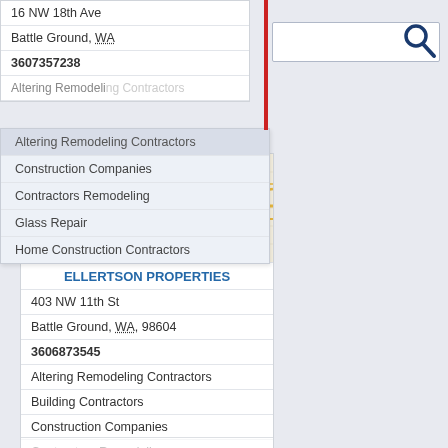16 NW 18th Ave
Battle Ground, WA
3607357238
Altering Remodeling Contractors
Construction Companies
Contractors Remodeling
Glass Repair
Home Construction Contractors
[Figure (map): Street map showing Battle Ground WA area with location pin marker]
ELLERTSON PROPERTIES
403 NW 11th St
Battle Ground, WA, 98604
3606873545
Altering Remodeling Contractors
Building Contractors
Construction Companies
Contractors Remodeling
Home Repair & Remodeling